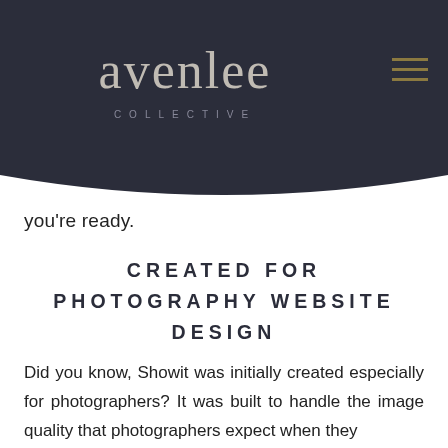[Figure (logo): Avenlee Collective logo with hamburger menu on dark navy header with curved bottom edge]
you're ready.
CREATED FOR PHOTOGRAPHY WEBSITE DESIGN
Did you know, Showit was initially created especially for photographers? It was built to handle the image quality that photographers expect when they